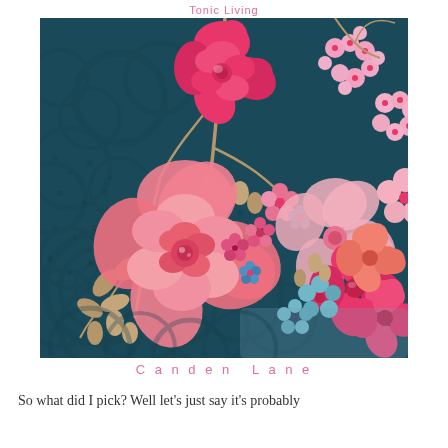Tonic Living
[Figure (illustration): Floral fabric pattern on dark teal background featuring large pink and coral roses, smaller pink cherry blossom-like flowers, golden/tan leaves and buds, with a lace-like dark pattern overlay throughout]
Canden Lane
So what did I pick? Well let's just say it's probably